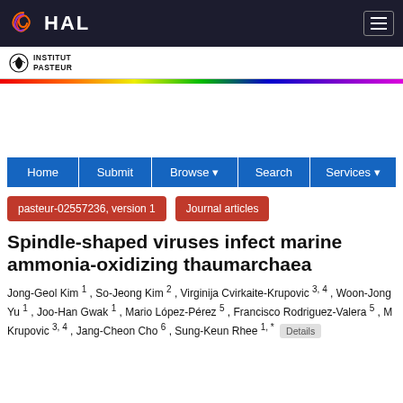HAL
[Figure (logo): Institut Pasteur logo with rainbow stripe]
Home | Submit | Browse | Search | Services
pasteur-02557236, version 1   Journal articles
Spindle-shaped viruses infect marine ammonia-oxidizing thaumarchaea
Jong-Geol Kim 1 , So-Jeong Kim 2 , Virginija Cvirkaite-Krupovic 3, 4 , Woon-Jong Yu 1 , Joo-Han Gwak 1 , Mario López-Pérez 5 , Francisco Rodriguez-Valera 5 , M Krupovic 3, 4 , Jang-Cheon Cho 6 , Sung-Keun Rhee 1, * Details